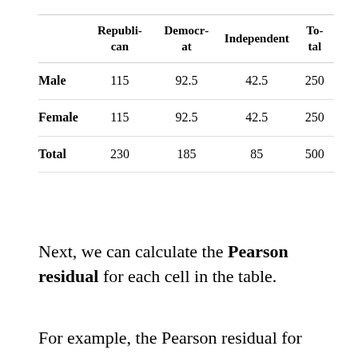|  | Republican | Democrat | Independent | Total |
| --- | --- | --- | --- | --- |
| Male | 115 | 92.5 | 42.5 | 250 |
| Female | 115 | 92.5 | 42.5 | 250 |
| Total | 230 | 185 | 85 | 500 |
Next, we can calculate the Pearson residual for each cell in the table.
For example, the Pearson residual for